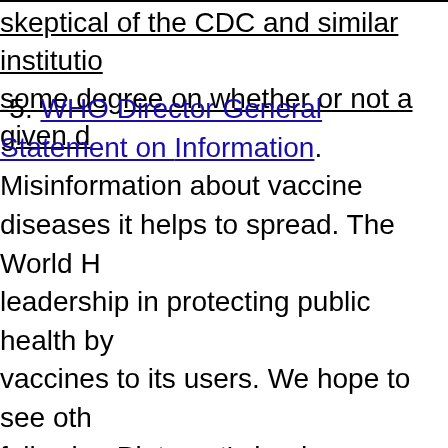skeptical of the CDC and similar institutions some degree on whether or not a given d
-5. WHO Director General Statement on Information. Misinformation about vaccines diseases it helps to spread. The World Health leadership in protecting public health by vaccines to its users. We hope to see others following Pinterest's lead. Misinformation social media platforms in many different campaigns like those for polio in Pakistan Vaccine-4, 190825-Vaccine-2. AAP and SE Vaccines Through the Power of Images, Immunization Image Gallery, Social Media